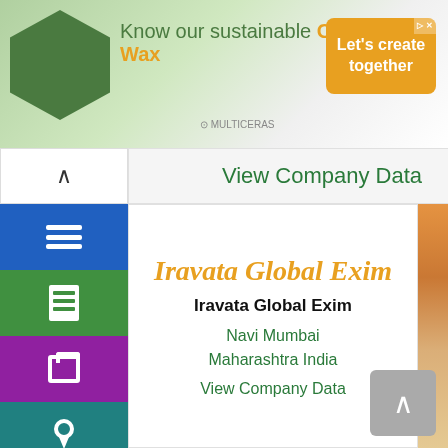[Figure (screenshot): Advertisement banner for Candelilla Wax product by Multiceras, featuring hexagon logo, green and white background, orange 'Let's create together' call-to-action button]
View Company Data
[Figure (screenshot): Navigation sidebar with blue (hamburger menu), green (document), purple (archive box), teal (location pin), and violet (search) icon buttons]
Iravata Global Exim
Iravata Global Exim
Navi Mumbai Maharashtra India
View Company Data